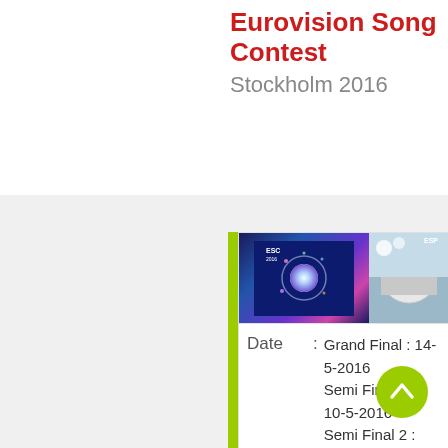Eurovision Song Contest Stockholm 2016
[Figure (photo): ESC 2016 logo image with blue/purple galaxy-like design and a right-side partial photo of a white dome building]
Date : Grand Final : 14-5-2016 Semi Final 1 : 10-5-2016 Semi Final 2 : 12-5-2016